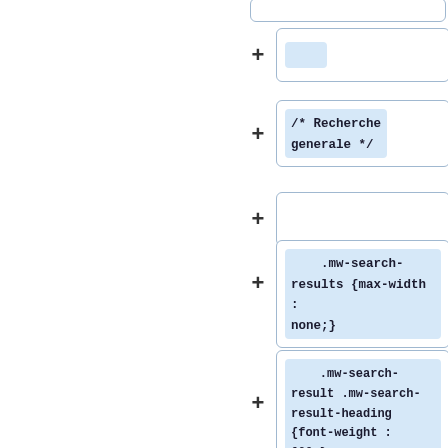[Figure (screenshot): A vertical list of code diff entries, each showing a '+' sign on the left and a box containing code or CSS text on the right. Boxes with content have a blue highlighted inner region. Items include: an empty box, a small blue rectangle box, a comment '/* Recherche generale */', an empty box, '.mw-search-results {max-width : none;}', '.mw-search-result .mw-search-result-heading {font-weight : 600;}', and '.mw-search-result' (partially visible).]